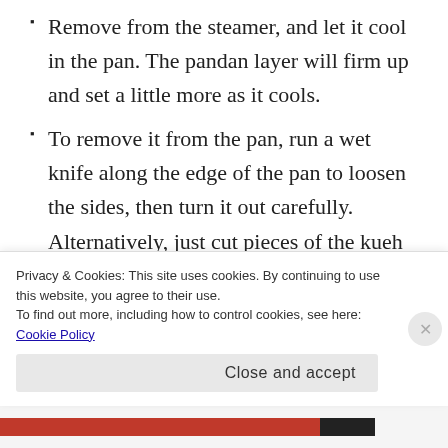Remove from the steamer, and let it cool in the pan. The pandan layer will firm up and set a little more as it cools.
To remove it from the pan, run a wet knife along the edge of the pan to loosen the sides, then turn it out carefully. Alternatively, just cut pieces of the kueh directly from the pan.
Note: This kueh is never served chilled but at
Privacy & Cookies: This site uses cookies. By continuing to use this website, you agree to their use.
To find out more, including how to control cookies, see here: Cookie Policy